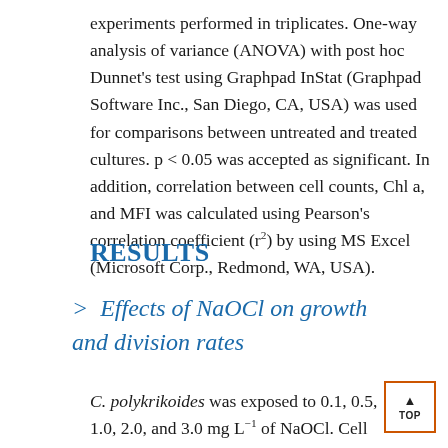experiments performed in triplicates. One-way analysis of variance (ANOVA) with post hoc Dunnet's test using Graphpad InStat (Graphpad Software Inc., San Diego, CA, USA) was used for comparisons between untreated and treated cultures. p < 0.05 was accepted as significant. In addition, correlation between cell counts, Chl a, and MFI was calculated using Pearson's correlation coefficient (r²) by using MS Excel (Microsoft Corp., Redmond, WA, USA).
RESULTS
> Effects of NaOCl on growth and division rates
C. polykrikoides was exposed to 0.1, 0.5, 1.0, 2.0, and 3.0 mg L⁻¹ of NaOCl. Cell counts, growth rate, and the cell